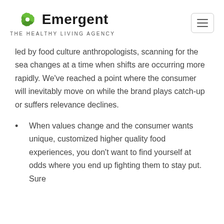Emergent — THE HEALTHY LIVING AGENCY
led by food culture anthropologists, scanning for the sea changes at a time when shifts are occurring more rapidly. We've reached a point where the consumer will inevitably move on while the brand plays catch-up or suffers relevance declines.
When values change and the consumer wants unique, customized higher quality food experiences, you don't want to find yourself at odds where you end up fighting them to stay put. Sure